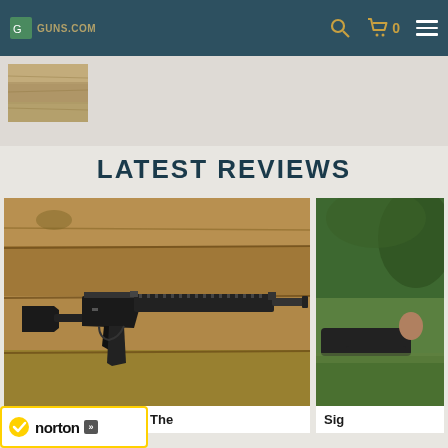GUNS.COM — Navigation bar with logo, search, cart (0), and menu
[Figure (photo): Small thumbnail of a wooden surface / gun product image in top-left below nav]
LATEST REVIEWS
[Figure (photo): Main card: AR-style rifle (Sig Sauer M400 Pro) laid on wooden planks background]
[Figure (photo): Side card: Person shooting prone position on grass, partially cropped]
uer M400 Pro Review: The
Sig